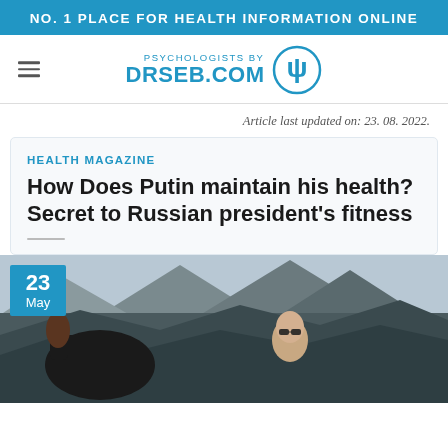NO. 1 PLACE FOR HEALTH INFORMATION ONLINE
[Figure (logo): PSYCHOLOGISTS BY DRSEB.COM logo with psi symbol in circle]
Article last updated on: 23. 08. 2022.
HEALTH MAGAZINE
How Does Putin maintain his health? Secret to Russian president’s fitness
[Figure (photo): Shirtless man wearing sunglasses next to a dark horse, with mountainous rocky terrain in the background. A blue date badge shows '23 May' in the lower left corner.]